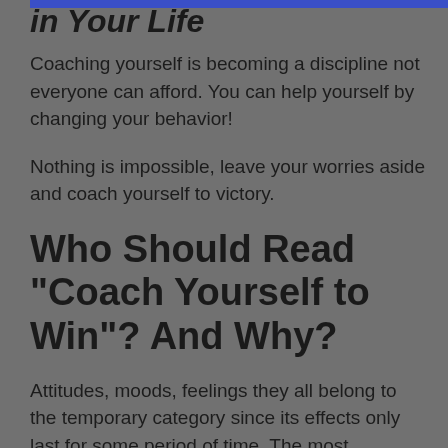in Your Life
Coaching yourself is becoming a discipline not everyone can afford. You can help yourself by changing your behavior!
Nothing is impossible, leave your worries aside and coach yourself to victory.
Who Should Read “Coach Yourself to Win”? And Why?
Attitudes, moods, feelings they all belong to the temporary category since its effects only last for some period of time. The most courageous people are aware of this and willingly